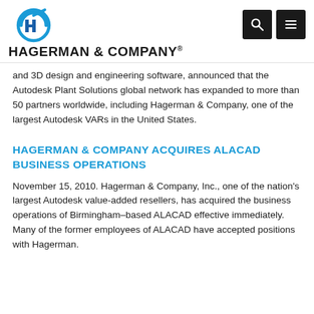HAGERMAN & COMPANY®
and 3D design and engineering software, announced that the Autodesk Plant Solutions global network has expanded to more than 50 partners worldwide, including Hagerman & Company, one of the largest Autodesk VARs in the United States.
HAGERMAN & COMPANY ACQUIRES ALACAD BUSINESS OPERATIONS
November 15, 2010. Hagerman & Company, Inc., one of the nation's largest Autodesk value-added resellers, has acquired the business operations of Birmingham–based ALACAD effective immediately. Many of the former employees of ALACAD have accepted positions with Hagerman.